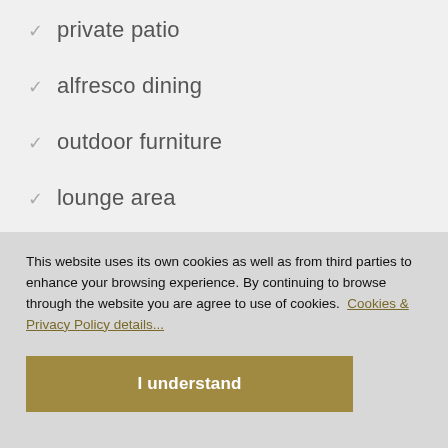private patio
alfresco dining
outdoor furniture
lounge area
barbecue-BBQ
pizza oven
This website uses its own cookies as well as from third parties to enhance your browsing experience. By continuing to browse through the website you are agree to use of cookies. Cookies & Privacy Policy details...
I understand